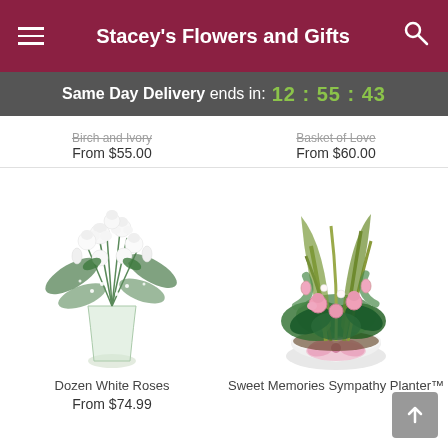Stacey's Flowers and Gifts
Same Day Delivery ends in: 12:55:43
From $55.00
From $60.00
[Figure (photo): A bouquet of dozen white roses with baby's breath in a clear glass vase]
Dozen White Roses
From $74.99
[Figure (photo): Sweet Memories Sympathy Planter with pink roses, tropical leaves, and pink ribbon bow in a white round ceramic pot]
Sweet Memories Sympathy Planter™